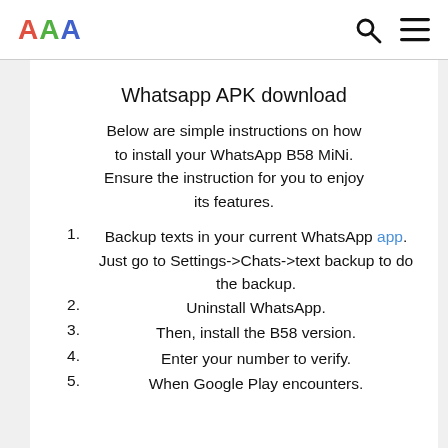AAA [logo] [search icon] [menu icon]
Whatsapp APK download
Below are simple instructions on how to install your WhatsApp B58 MiNi. Ensure the instruction for you to enjoy its features.
1. Backup texts in your current WhatsApp app. Just go to Settings->Chats->text backup to do the backup.
2. Uninstall WhatsApp.
3. Then, install the B58 version.
4. Enter your number to verify.
5. When Google Play encounters.